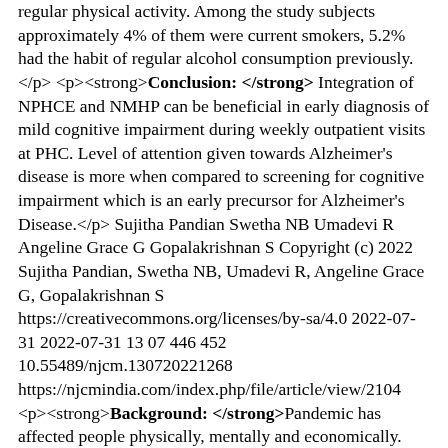regular physical activity. Among the study subjects approximately 4% of them were current smokers, 5.2% had the habit of regular alcohol consumption previously.</p> <p><strong>Conclusion: </strong> Integration of NPHCE and NMHP can be beneficial in early diagnosis of mild cognitive impairment during weekly outpatient visits at PHC. Level of attention given towards Alzheimer's disease is more when compared to screening for cognitive impairment which is an early precursor for Alzheimer's Disease.</p> Sujitha Pandian Swetha NB Umadevi R Angeline Grace G Gopalakrishnan S Copyright (c) 2022 Sujitha Pandian, Swetha NB, Umadevi R, Angeline Grace G, Gopalakrishnan S https://creativecommons.org/licenses/by-sa/4.0 2022-07-31 2022-07-31 13 07 446 452 10.55489/njcm.130720221268 https://njcmindia.com/index.php/file/article/view/2104 <p><strong>Background: </strong>Pandemic has affected people physically, mentally and economically. India being a growing economic power house, spends only around 1.2% of GDP on health which thereby leads to high OOP spending. This study aims to estimate out of pocket health expenditure and proportion of financial risk protection.</p> <p><strong>Methods:</strong> Cross sectional study conducted among Covid-19 affected individuals in Chennai. It was a questionnaire based study with questions about covid-19 management status, cost and insurance utilization. Descriptive statistics and regression analysis was used for analysis.</p> <p><strong>Results: </strong>Total of 47 were